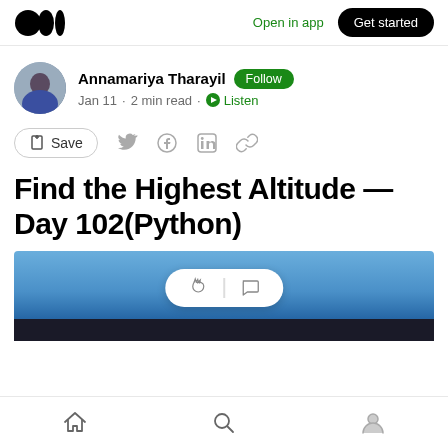Medium logo | Open in app | Get started
Annamariya Tharayil · Follow · Jan 11 · 2 min read · Listen
Save (share icons)
Find the Highest Altitude — Day 102(Python)
[Figure (photo): Article header image showing a blue sky scene, partially visible]
Bottom navigation bar with home, search, and profile icons